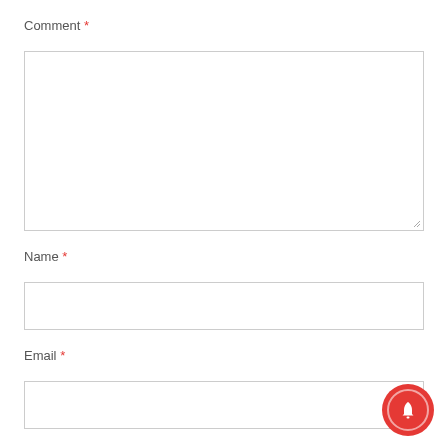Comment *
[Figure (screenshot): Large empty comment textarea box with resize handle at bottom right]
Name *
[Figure (screenshot): Empty single-line text input for Name]
Email *
[Figure (screenshot): Empty single-line text input for Email]
Website
[Figure (screenshot): Empty single-line text input for Website, partially visible. Red bell notification button overlaid at bottom right.]